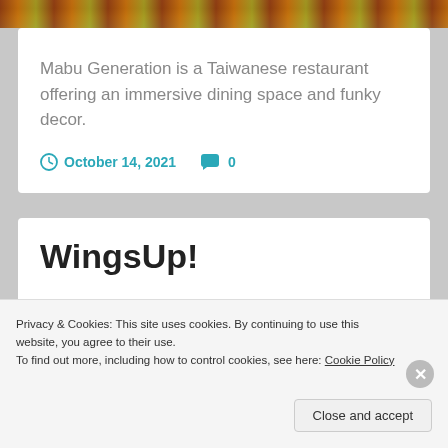[Figure (photo): Food photo strip at top of page showing cooked dishes]
Mabu Generation is a Taiwanese restaurant offering an immersive dining space and funky decor.
October 14, 2021  0
WingsUp!
[Figure (photo): Food photo showing fried chicken wings on a plate with wooden surface]
Privacy & Cookies: This site uses cookies. By continuing to use this website, you agree to their use.
To find out more, including how to control cookies, see here: Cookie Policy
Close and accept